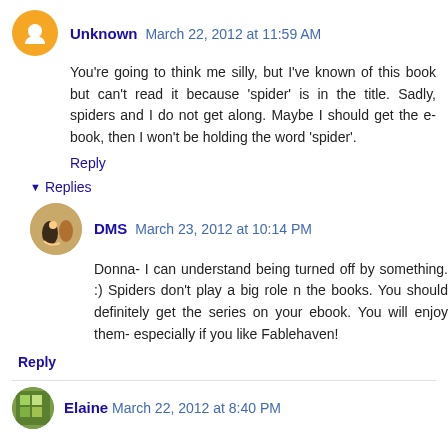Unknown March 22, 2012 at 11:59 AM
You're going to think me silly, but I've known of this book but can't read it because 'spider' is in the title. Sadly, spiders and I do not get along. Maybe I should get the e-book, then I won't be holding the word 'spider'.
Reply
Replies
DMS March 23, 2012 at 10:14 PM
Donna- I can understand being turned off by something. :) Spiders don't play a big role n the books. You should definitely get the series on your ebook. You will enjoy them- especially if you like Fablehaven!
Reply
Elaine March 22, 2012 at 8:40 PM